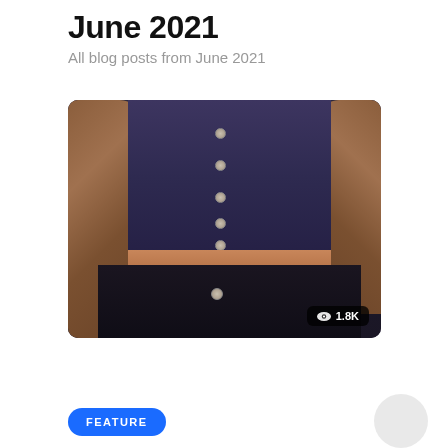June 2021
All blog posts from June 2021
[Figure (photo): Photo of a person wearing a dark navy button-up crop top with a brown cardigan draped over shoulders, a tan belt, and a dark high-waisted skirt. View count badge shows 1.8K.]
FEATURE